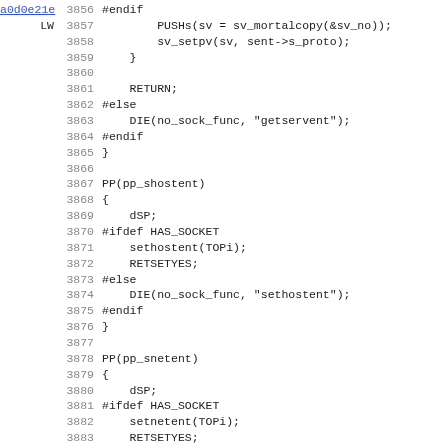[Figure (screenshot): Source code listing showing C/Perl code lines 3856-3887 with line numbers, left gutter annotations (a0d0e21e link, LW), and monospace code text on white background.]